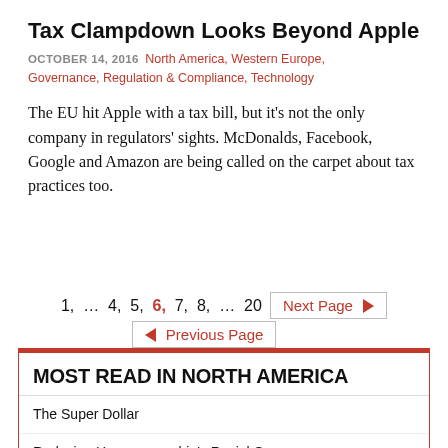Tax Clampdown Looks Beyond Apple
OCTOBER 14, 2016  North America, Western Europe, Governance, Regulation & Compliance, Technology
The EU hit Apple with a tax bill, but it's not the only company in regulators' sights. McDonalds, Facebook, Google and Amazon are being called on the carpet about tax practices too.
1, … 4, 5, 6, 7, 8, … 20  Next Page ▶  ◀ Previous Page
MOST READ IN NORTH AMERICA
The Super Dollar
Reducing Homeownership's Racial Gap
DeSantis Dukes It Out With The House Of Mouse